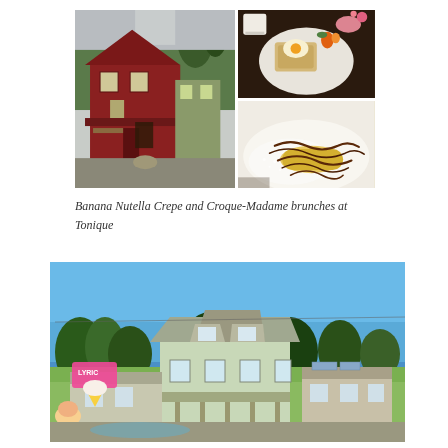[Figure (photo): Two food/restaurant photos side by side: left shows a red barn-style building (Tonique restaurant exterior), right top shows a plate with food items, right bottom shows a crepe with chocolate drizzle on a white plate]
Banana Nutella Crepe and Croque-Madame brunches at Tonique
[Figure (photo): Exterior photo of a small commercial building complex with a bright blue sky, trees in background, and a neon ice cream cone sign on the left side]